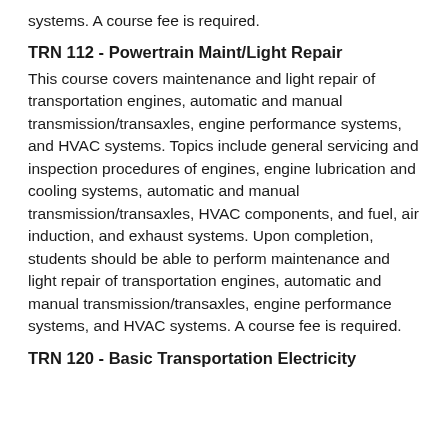systems. A course fee is required.
TRN 112 - Powertrain Maint/Light Repair
This course covers maintenance and light repair of transportation engines, automatic and manual transmission/transaxles, engine performance systems, and HVAC systems. Topics include general servicing and inspection procedures of engines, engine lubrication and cooling systems, automatic and manual transmission/transaxles, HVAC components, and fuel, air induction, and exhaust systems. Upon completion, students should be able to perform maintenance and light repair of transportation engines, automatic and manual transmission/transaxles, engine performance systems, and HVAC systems. A course fee is required.
TRN 120 - Basic Transportation Electricity